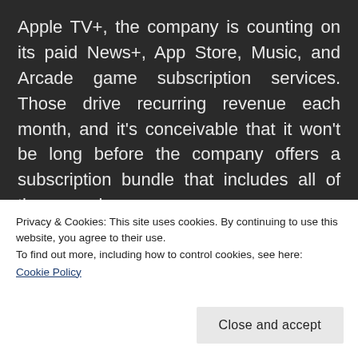Apple TV+, the company is counting on its paid News+, App Store, Music, and Arcade game subscription services. Those drive recurring revenue each month, and it's conceivable that it won't be long before the company offers a subscription bundle that includes all of these services.
Still, in order for any of them to succeed, users
the largest gaming platforms in the world, so
Privacy & Cookies: This site uses cookies. By continuing to use this website, you agree to their use.
To find out more, including how to control cookies, see here:
Cookie Policy
Close and accept